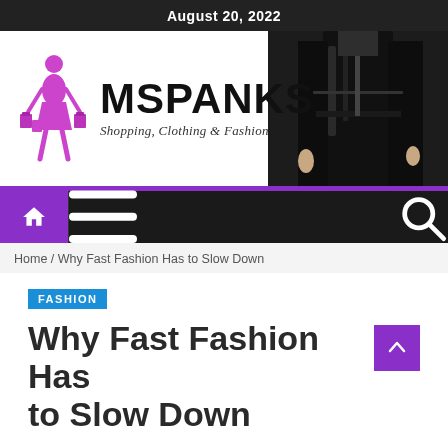August 20, 2022
[Figure (logo): MSPANKS logo with purple shopping lady silhouette icon and text 'MSPANKS - Shopping, Clothing & Fashion']
[Figure (photo): Fashion photo of model in black clothing on dark background]
Home / Why Fast Fashion Has to Slow Down
FASHION
Why Fast Fashion Has to Slow Down